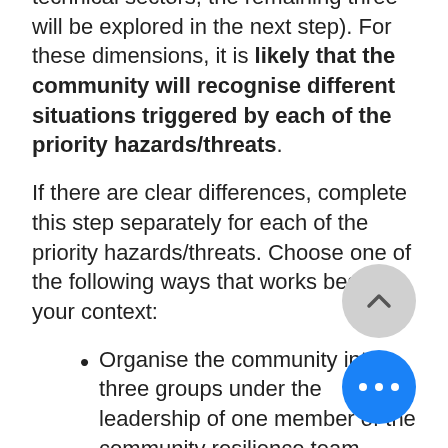technical sectors; the remaining three will be explored in the next step). For these dimensions, it is likely that the community will recognise different situations triggered by each of the priority hazards/threats.
If there are clear differences, complete this step separately for each of the priority hazards/threats. Choose one of the following ways that works best in your context:
Organise the community into three groups under the leadership of one member of the community resilience team. Each group will focus on one priority hazard/threat; OR
Time allowing, keep all